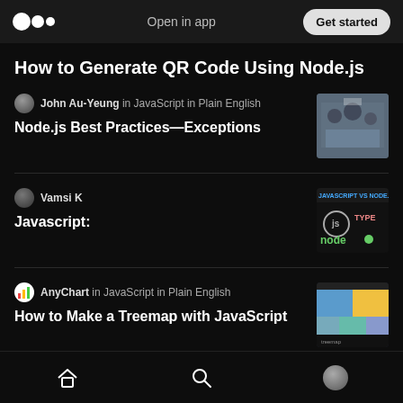Open in app | Get started
How to Generate QR Code Using Node.js
John Au-Yeung in JavaScript in Plain English — Node.js Best Practices—Exceptions
Vamsi K — Javascript:
AnyChart in JavaScript in Plain English — How to Make a Treemap with JavaScript
Sanjeev Pratap Singh
Home | Search | Profile